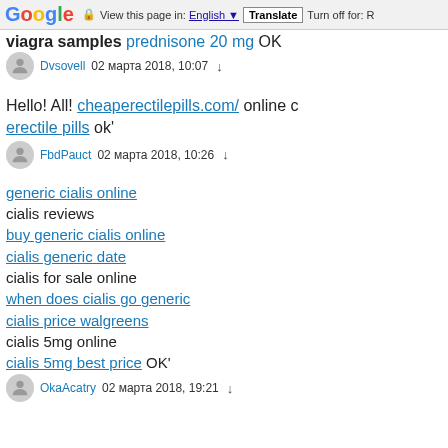Google  View this page in: English  Translate  Turn off for: R
viagra samples prednisone 20 mg OK
Dvsovell  02 марта 2018, 10:07
Hello! All! cheaperectilepills.com/ online c erectile pills ok'
FbdPauct  02 марта 2018, 10:26
generic cialis online
cialis reviews
buy generic cialis online
cialis generic date
cialis for sale online
when does cialis go generic
cialis price walgreens
cialis 5mg online
cialis 5mg best price OK'
OkaAcatry  02 марта 2018, 19:21